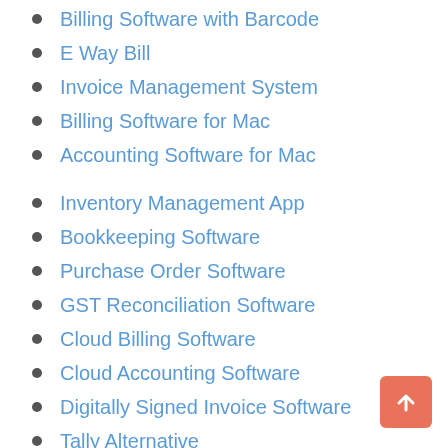Billing Software with Barcode
E Way Bill
Invoice Management System
Billing Software for Mac
Accounting Software for Mac
Inventory Management App
Bookkeeping Software
Purchase Order Software
GST Reconciliation Software
Cloud Billing Software
Cloud Accounting Software
Digitally Signed Invoice Software
Tally Alternative
Cloud POS
Open Source Accounting Software